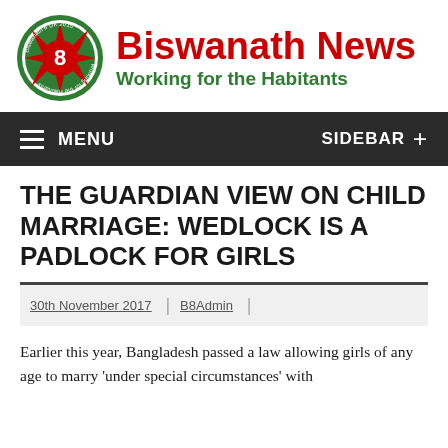[Figure (logo): Biswanath 8 UK 2015 circular logo with red star/sun design and green border]
Biswanath News
Working for the Habitants
MENU   SIDEBAR +
THE GUARDIAN VIEW ON CHILD MARRIAGE: WEDLOCK IS A PADLOCK FOR GIRLS
30th November 2017 | B8Admin |
Earlier this year, Bangladesh passed a law allowing girls of any age to marry 'under special circumstances' with